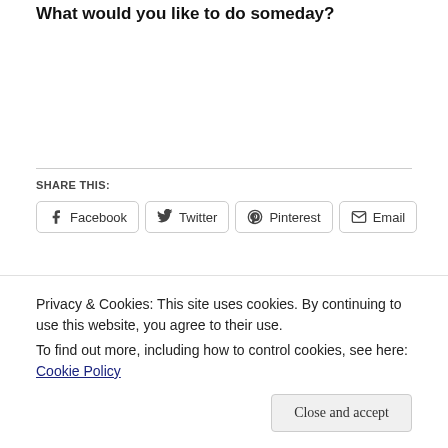What would you like to do someday?
SHARE THIS:
Facebook  Twitter  Pinterest  Email
Backyard Camping    Living a Content Life
Privacy & Cookies: This site uses cookies. By continuing to use this website, you agree to their use.
To find out more, including how to control cookies, see here: Cookie Policy
Close and accept